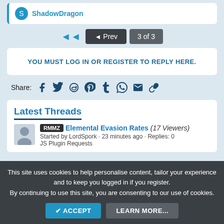ShadowDragon
◄  ◄ Prev  3 of 3
YOU MUST LOG IN OR REGISTER TO REPLY HERE.
Share: (social icons: Facebook, Twitter, Reddit, Pinterest, Tumblr, WhatsApp, Email, Link)
Latest Threads
RMMZ  Elemental Evasion Rates (17 Viewers)
Started by LordSpork · 23 minutes ago · Replies: 0
JS Plugin Requests
This site uses cookies to help personalise content, tailor your experience and to keep you logged in if you register.
By continuing to use this site, you are consenting to our use of cookies.
✔ ACCEPT    LEARN MORE...